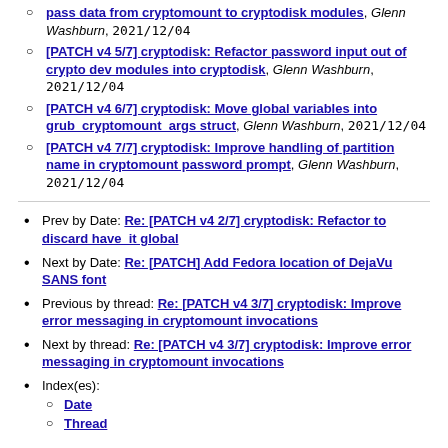[PATCH v4 5/7] cryptodisk: Refactor password input out of crypto dev modules into cryptodisk, Glenn Washburn, 2021/12/04
[PATCH v4 6/7] cryptodisk: Move global variables into grub_cryptomount_args struct, Glenn Washburn, 2021/12/04
[PATCH v4 7/7] cryptodisk: Improve handling of partition name in cryptomount password prompt, Glenn Washburn, 2021/12/04
Prev by Date: Re: [PATCH v4 2/7] cryptodisk: Refactor to discard have_it global
Next by Date: Re: [PATCH] Add Fedora location of DejaVu SANS font
Previous by thread: Re: [PATCH v4 3/7] cryptodisk: Improve error messaging in cryptomount invocations
Next by thread: Re: [PATCH v4 3/7] cryptodisk: Improve error messaging in cryptomount invocations
Index(es): Date, Thread